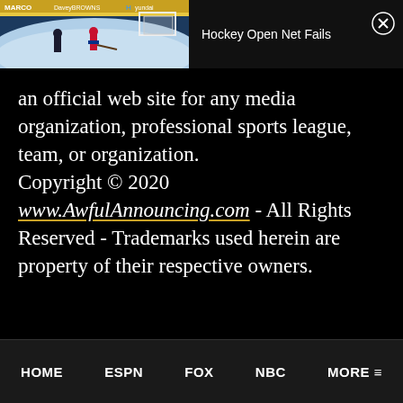[Figure (screenshot): Video thumbnail showing a hockey game with a player near an open net, with arena branding visible (MARCO, Davey Browns, Hyundai)]
Hockey Open Net Fails
an official web site for any media organization, professional sports league, team, or organization. Copyright © 2020 www.AwfulAnnouncing.com - All Rights Reserved - Trademarks used herein are property of their respective owners.
HOME   ESPN   FOX   NBC   MORE ≡